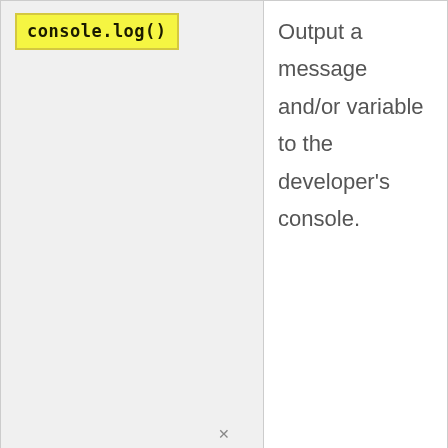| console.log() | Output a message and/or variable to the developer's console. |
| console.table() | Output an array or |
[Figure (other): Pure Earth advertisement banner: black left section with text 'We believe the global pollution crisis can be solved.' and tan right section with Pure Earth logo (diamond shape with downward arrow layers in orange/yellow/green) and bold text 'PURE EARTH'.]
×